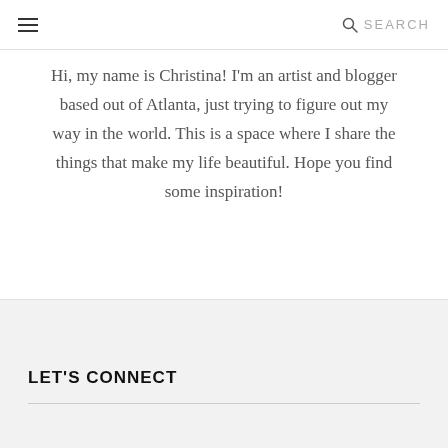≡  SEARCH
Hi, my name is Christina! I'm an artist and blogger based out of Atlanta, just trying to figure out my way in the world. This is a space where I share the things that make my life beautiful. Hope you find some inspiration!
READ MORE
LET'S CONNECT